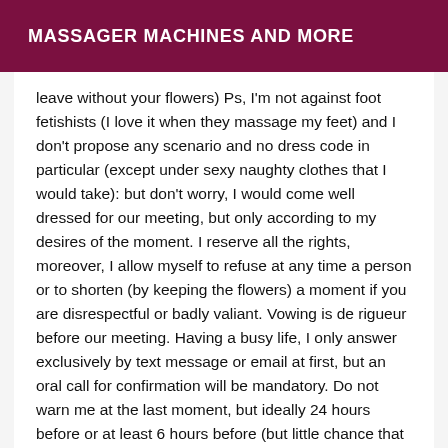MASSAGER MACHINES AND MORE
leave without your flowers) Ps, I'm not against foot fetishists (I love it when they massage my feet) and I don't propose any scenario and no dress code in particular (except under sexy naughty clothes that I would take): but don't worry, I would come well dressed for our meeting, but only according to my desires of the moment. I reserve all the rights, moreover, I allow myself to refuse at any time a person or to shorten (by keeping the flowers) a moment if you are disrespectful or badly valiant. Vowing is de rigueur before our meeting. Having a busy life, I only answer exclusively by text message or email at first, but an oral call for confirmation will be mandatory. Do not warn me at the last moment, but ideally 24 hours before or at least 6 hours before (but little chance that I accept). And finally if I chose to create this personal website: it is much easier for me and for you too. Everything is very clear, and you will find all the answers to your questions: it will save us time and I...